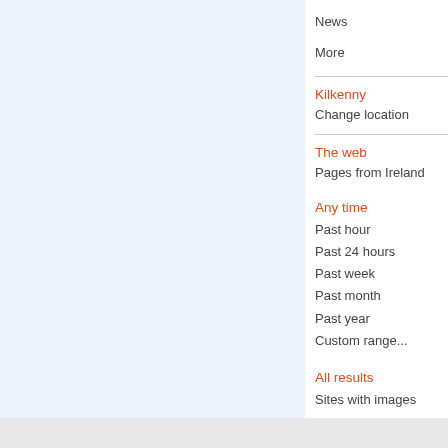News
More
Kilkenny
Change location
The web
Pages from Ireland
Any time
Past hour
Past 24 hours
Past week
Past month
Past year
Custom range...
All results
Sites with images
More search tools